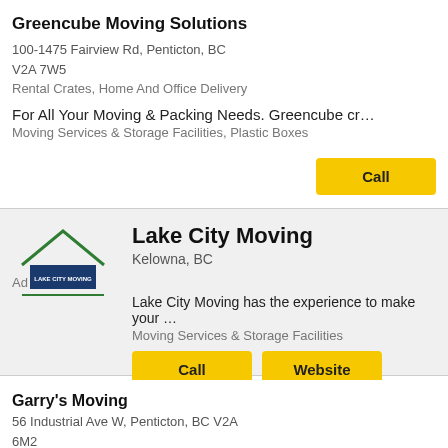Greencube Moving Solutions
Opening at 8:00 am
100-1475 Fairview Rd, Penticton, BC
V2A 7W5
Rental Crates, Home And Office Delivery
For All Your Moving & Packing Needs. Greencube cr…
Moving Services & Storage Facilities, Plastic Boxes
[Figure (logo): Lake City Moving logo with house outline and dark blue banner]
Lake City Moving
Kelowna, BC
Ad
Lake City Moving has the experience to make your …
Moving Services & Storage Facilities
Garry's Moving
56 Industrial Ave W, Penticton, BC V2A
6M2
Boat Hauling, One Person Contact From …
Garry's Moving is the bec…erving & def for servi…